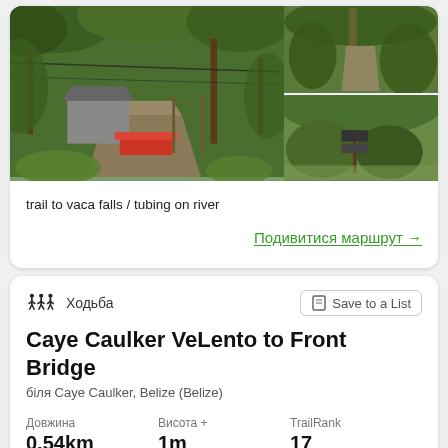[Figure (photo): Trail photos showing jungle path with shed and red object, forest trail with signpost]
trail to vaca falls / tubing on river
Подивитися маршрут →
Ходьба   Save to a List
Caye Caulker VeLento to Front Bridge
біля Caye Caulker, Belize (Belize)
| Довжина | Висота + | TrailRank |
| --- | --- | --- |
| 0,54km | 1m | 17 |
Charles Thomas
with